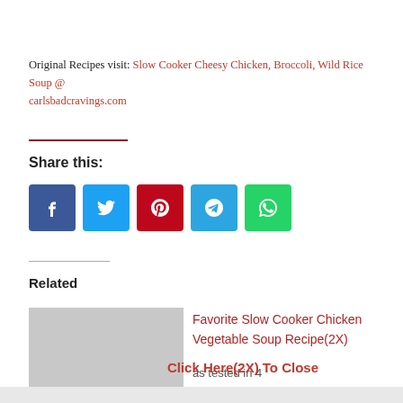Original Recipes visit: Slow Cooker Cheesy Chicken, Broccoli, Wild Rice Soup @ carlsbadcravings.com
Share this:
[Figure (infographic): Social media share buttons: Facebook (blue), Twitter (light blue), Pinterest (red), Telegram (blue), WhatsApp (green)]
Related
Favorite Slow Cooker Chicken Vegetable Soup Recipe(2X)
as tested in 4
Click Here(2X) To Close